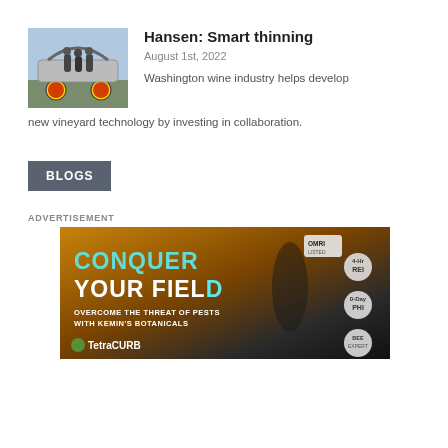[Figure (photo): Photo of people with red vineyard thinning machine outdoors]
Hansen: Smart thinning
August 1st, 2022
Washington wine industry helps develop new vineyard technology by investing in collaboration.
BLOGS
ADVERTISEMENT
[Figure (photo): Advertisement for TetraCURB by Kemin Botanicals. Text: CONQUER YOUR FIELD. OVERCOME THE THREAT OF PESTS WITH KEMIN'S BOTANICALS. TetraCURB. OMRI badge, REI 4hr, PHI 0-day, and Bee Expert badges shown.]